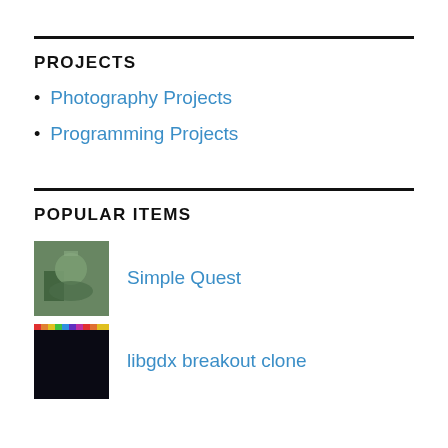PROJECTS
Photography Projects
Programming Projects
POPULAR ITEMS
Simple Quest
libgdx breakout clone